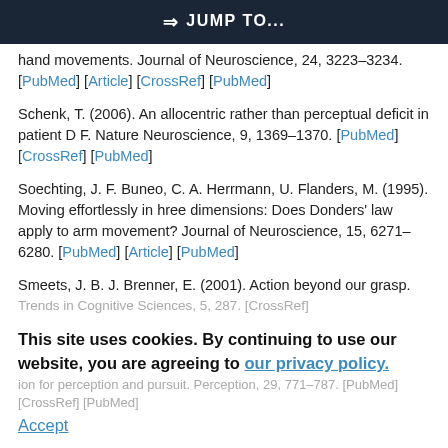JUMP TO...
hand movements. Journal of Neuroscience, 24, 3223–3234. [PubMed] [Article] [CrossRef] [PubMed]
Schenk, T. (2006). An allocentric rather than perceptual deficit in patient D F. Nature Neuroscience, 9, 1369–1370. [PubMed] [CrossRef] [PubMed]
Soechting, J. F. Buneo, C. A. Herrmann, U. Flanders, M. (1995). Moving effortlessly in hree dimensions: Does Donders' law apply to arm movement? Journal of Neuroscience, 15, 6271–6280. [PubMed] [Article] [PubMed]
Smeets, J. B. J. Brenner, E. (2001). Action beyond our grasp.
Trends in Cognitive Sciences, 5, 287. [CrossRef]
This site uses cookies. By continuing to use our website, you are agreeing to our privacy policy.
Accept
ion for perception and pursuit. Perception, 29, 771–787. [PubMed] [CrossRef] [PubMed]